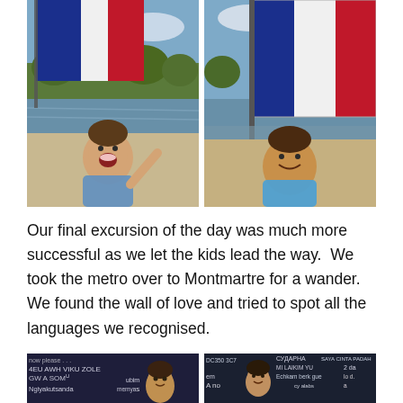[Figure (photo): Two side-by-side photos of a young girl with a French flag outdoors near water. Left photo: girl with mouth open laughing. Right photo: girl smiling more calmly in a blue shirt.]
Our final excursion of the day was much more successful as we let the kids lead the way.  We took the metro over to Montmartre for a wander.  We found the wall of love and tried to spot all the languages we recognised.
[Figure (photo): Two side-by-side photos showing a chalkboard wall with writing in many languages including 'I love you' written in multiple languages such as СУДАРНА, SAYA CINTA PADAMU, Mi LaIKim, Echkam, Ngiyakutsanda, and others. A boy's face is visible in the left photo.]